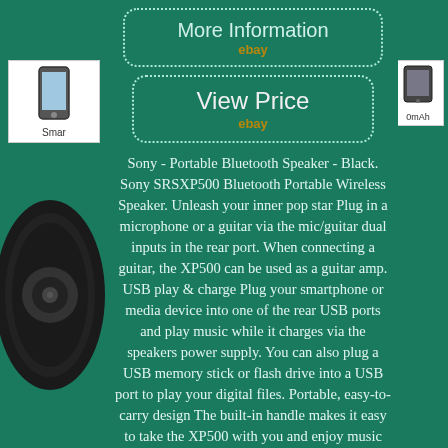[Figure (screenshot): Thumbnail of a smartphone icon with label 'Smar' (truncated)]
[Figure (screenshot): Thumbnail on right side with label '0mAh' (truncated)]
[Figure (screenshot): More Information button with dotted border and eBay logo]
[Figure (screenshot): View Price button with dotted border and eBay logo]
Sony - Portable Bluetooth Speaker - Black. Sony SRSXP500 Bluetooth Portable Wireless Speaker. Unleash your inner pop star Plug in a microphone or a guitar via the mic/guitar dual inputs in the rear port. When connecting a guitar, the XP500 can be used as a guitar amp. USB play & charge Plug your smartphone or media device into one of the rear USB ports and play music while it charges via the speakers power supply. You can also plug a USB memory stick or flash drive into a USB port to play your digital files. Portable, easy-to-carry design The built-in handle makes it easy to take the XP500 with you and enjoy music anywhere you go.